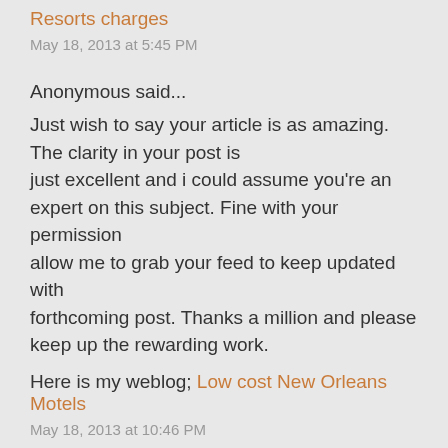Resorts charges
May 18, 2013 at 5:45 PM
Anonymous said...
Just wish to say your article is as amazing. The clarity in your post is just excellent and i could assume you're an expert on this subject. Fine with your permission allow me to grab your feed to keep updated with forthcoming post. Thanks a million and please keep up the rewarding work.
Here is my weblog; Low cost New Orleans Motels
May 18, 2013 at 10:46 PM
Anonymous said...
Great beat ! I would like to